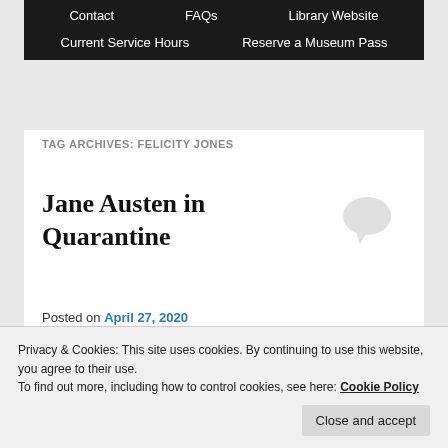Contact | FAQs | Library Website | Current Service Hours | Reserve a Museum Pass
TAG ARCHIVES: FELICITY JONES
Jane Austen in Quarantine
Posted on April 27, 2020
There's been a little
[Figure (other): Book cover showing 'Gwyneth Paltrow' text in stylized serif lettering]
Regency men and
Privacy & Cookies: This site uses cookies. By continuing to use this website, you agree to their use.
To find out more, including how to control cookies, see here: Cookie Policy